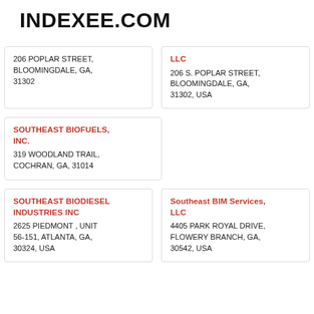INDEXEE.COM
206 POPLAR STREET, BLOOMINGDALE, GA, 31302
LLC
206 S. POPLAR STREET, BLOOMINGDALE, GA, 31302, USA
SOUTHEAST BIOFUELS, INC.
319 WOODLAND TRAIL, COCHRAN, GA, 31014
SOUTHEAST BIODIESEL INDUSTRIES INC
2625 PIEDMONT , UNIT 56-151, ATLANTA, GA, 30324, USA
Southeast BIM Services, LLC
4405 PARK ROYAL DRIVE, FLOWERY BRANCH, GA, 30542, USA